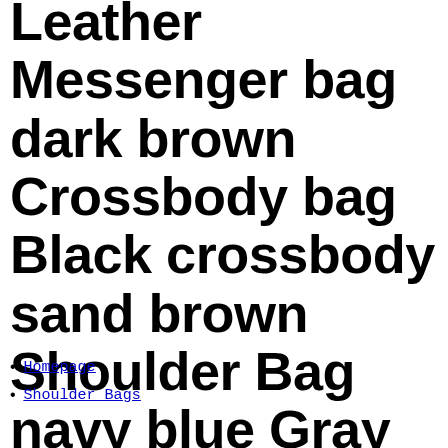Leather Messenger bag dark brown Crossbody bag Black crossbody sand brown Shoulder Bag navy blue Gray crossbody handbag
Homepage
Shoulder Bags